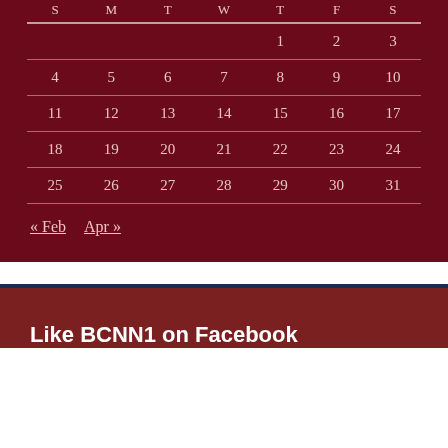| S | M | T | W | T | F | S |
| --- | --- | --- | --- | --- | --- | --- |
|  |  |  |  | 1 | 2 | 3 |
| 4 | 5 | 6 | 7 | 8 | 9 | 10 |
| 11 | 12 | 13 | 14 | 15 | 16 | 17 |
| 18 | 19 | 20 | 21 | 22 | 23 | 24 |
| 25 | 26 | 27 | 28 | 29 | 30 | 31 |
« Feb   Apr »
Like BCNN1 on Facebook